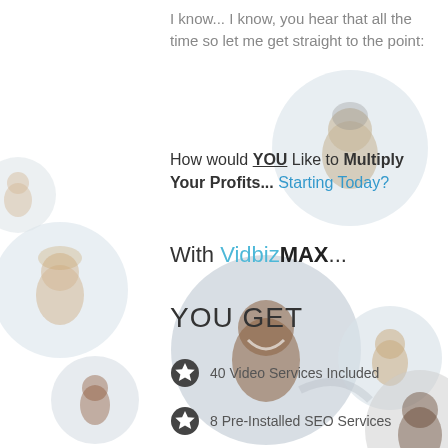I know... I know, you hear that all the time so let me get straight to the point:
How would YOU Like to Multiply Your Profits... Starting Today?
With VidbizMAX...
YOU GET
[Figure (illustration): Background collage of circular portrait photos of smiling diverse people on a light grey/white background]
40 Video Services Included
8 Pre-Installed SEO Services